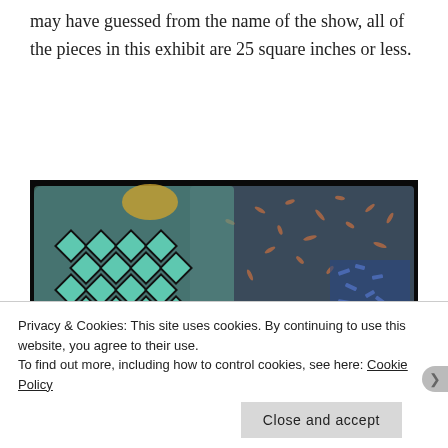may have guessed from the name of the show, all of the pieces in this exhibit are 25 square inches or less.
[Figure (photo): Close-up photograph of a textile/mixed-media artwork on black background showing intricate stitching patterns including a black cross-hatch diamond grid on turquoise, copper chain-like stitching, blue and white textured areas, and scattered orange/copper thread marks.]
Privacy & Cookies: This site uses cookies. By continuing to use this website, you agree to their use.
To find out more, including how to control cookies, see here: Cookie Policy